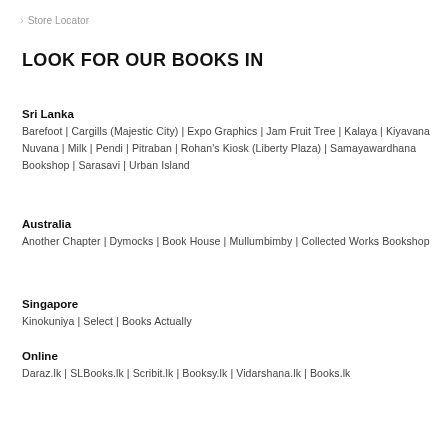Store Locator
LOOK FOR OUR BOOKS IN
Sri Lanka
Barefoot | Cargills (Majestic City) | Expo Graphics | Jam Fruit Tree | Kalaya | Kiyavana Nuvana | Milk | Pendi | Pitraban | Rohan's Kiosk (Liberty Plaza) | Samayawardhana Bookshop | Sarasavi | Urban Island
Australia
Another Chapter | Dymocks | Book House | Mullumbimby | Collected Works Bookshop
Singapore
Kinokuniya | Select | Books Actually
Online
Daraz.lk | SLBooks.lk | Scribit.lk | Booksy.lk | Vidarshana.lk | Books.lk